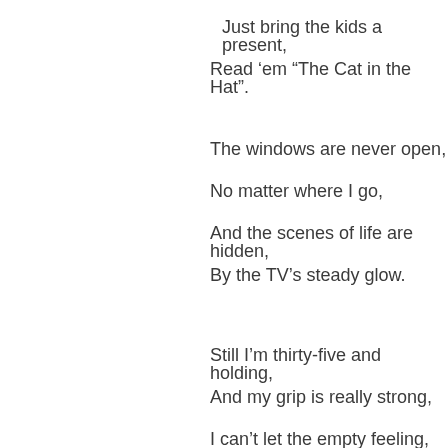Just bring the kids a present,
Read ‘em “The Cat in the Hat”.
The windows are never open,
No matter where I go,
And the scenes of life are hidden,
By the TV’s steady glow.
Still I’m thirty-five and holding,
And my grip is really strong,
I can’t let the empty feeling,